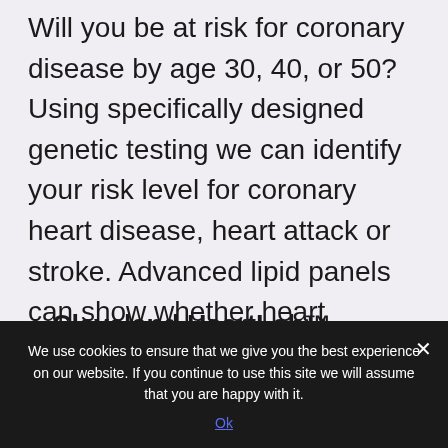Will you be at risk for coronary disease by age 30, 40, or 50? Using specifically designed genetic testing we can identify your risk level for coronary heart disease, heart attack or stroke. Advanced lipid panels can show whether heart disease is a current issue.
Cleveland HeartLab™
Cenegenics® Philadelphia uses
We use cookies to ensure that we give you the best experience on our website. If you continue to use this site we will assume that you are happy with it.